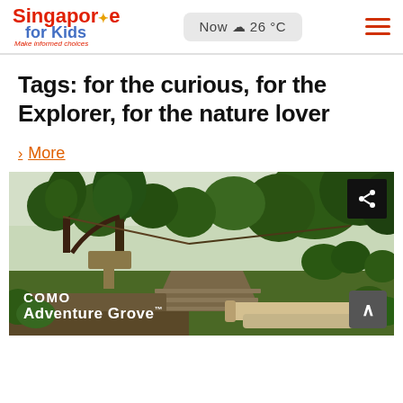Singapore for Kids — Make informed choices | Now 26°C
Tags: for the curious, for the Explorer, for the nature lover
> More
[Figure (photo): Outdoor nature area photo showing COMO Adventure Grove sign with lush green trees, wooden structures, a pathway, logs, and greenery. A share icon is visible in the top right corner and a scroll-to-top button in the bottom right.]